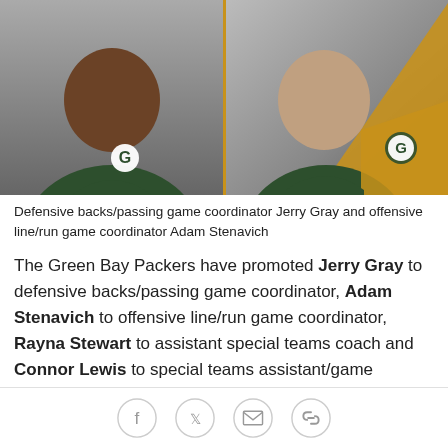[Figure (photo): Two Green Bay Packers coaches in dark green polo shirts with the Packers G logo. Left: Jerry Gray, a Black man. Right: Adam Stenavich, a white man. Right photo has a gold/black diagonal accent with a Packers logo.]
Defensive backs/passing game coordinator Jerry Gray and offensive line/run game coordinator Adam Stenavich
The Green Bay Packers have promoted Jerry Gray to defensive backs/passing game coordinator, Adam Stenavich to offensive line/run game coordinator, Rayna Stewart to assistant special teams coach and Connor Lewis to special teams assistant/game management specialist while also hiring John Dunn as a senior analyst, Justin Hood as a defensive quality control coach, Ryan Mahaffey as an offensive qualit...